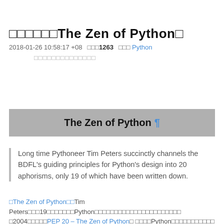□□□□□□The Zen of Python□
2018-01-26 10:58:17 +08  □□□1263  □□□ Python
□□□□□□□□□□□□□□
The Zen of Python ¶
Long time Pythoneer Tim Peters succinctly channels the BDFL's guiding principles for Python's design into 20 aphorisms, only 19 of which have been written down.
□The Zen of Python□□Tim Peters□□□19□□□□□□□Python□□□□□□□□□□□□□□□□□□□□□□ □2004□□□□□PEP 20 – The Zen of Python□ □□□□Python□□□□□□□□□□□